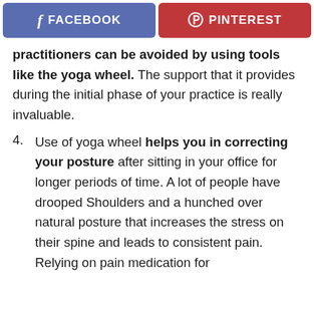[Figure (other): Social share buttons: Facebook (blue) and Pinterest (red)]
practitioners can be avoided by using tools like the yoga wheel. The support that it provides during the initial phase of your practice is really invaluable.
4. Use of yoga wheel helps you in correcting your posture after sitting in your office for longer periods of time. A lot of people have drooped Shoulders and a hunched over natural posture that increases the stress on their spine and leads to consistent pain. Relying on pain medication for